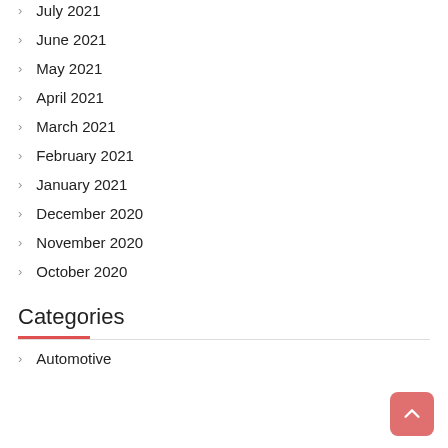July 2021
June 2021
May 2021
April 2021
March 2021
February 2021
January 2021
December 2020
November 2020
October 2020
Categories
Automotive